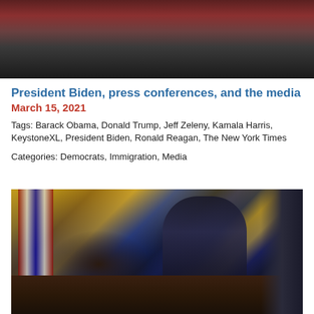[Figure (screenshot): Video player screenshot showing President Biden giving a prime-time address on coronavirus recovery. Shows video controls with pause button, progress bar showing 1:03:44 / 1:59:08, and a red live badge reading 'Right Now'. Title overlay reads 'President Biden prime-time address on coronavirus recovery'.]
President Biden, press conferences, and the media
March 15, 2021
Tags: Barack Obama, Donald Trump, Jeff Zeleny, Kamala Harris, KeystoneXL, President Biden, Ronald Reagan, The New York Times
Categories: Democrats, Immigration, Media
[Figure (photo): Photo of President Biden seated at the Oval Office desk, wearing a dark suit and blue tie with a black face mask, signing documents. An American flag is visible behind him to the left, gold curtains in the background, and framed photos on the desk.]